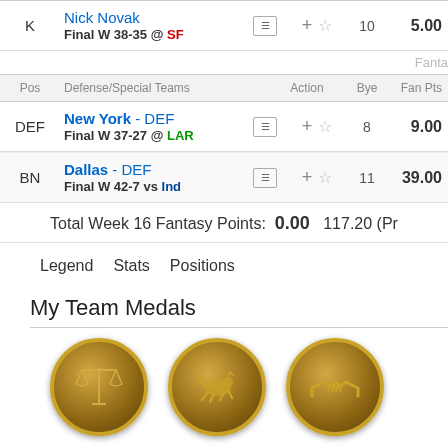| Pos | Player | Action | Bye | Fan Pts |
| --- | --- | --- | --- | --- |
| K | Nick Novak
Final W 38-35 @ SF |  | 10 | 5.00 |
|  | Fanta |  |  |  |
| Pos | Defense/Special Teams | Action | Bye | Fan Pts |
| DEF | New York - DEF
Final W 37-27 @ LAR |  | 8 | 9.00 |
| BN | Dallas - DEF
Final W 42-7 vs Ind |  | 11 | 39.00 |
Total Week 16 Fantasy Points: 0.00 117.20 (Pr
Legend Stats Positions
My Team Medals
[Figure (illustration): Three gold medal coins: scales of justice, running fox/animal, handshake]